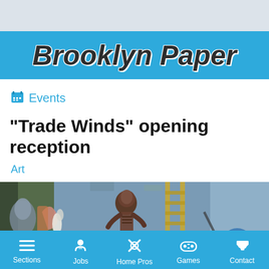Brooklyn Paper
Events
“Trade Winds” opening reception
Art
[Figure (photo): A colorful painting with expressive figures including human forms and abstract shapes against a blue background, with a Brooklyn Paper watermark visible in the lower right corner.]
Sections  Jobs  Home Pros  Games  Contact